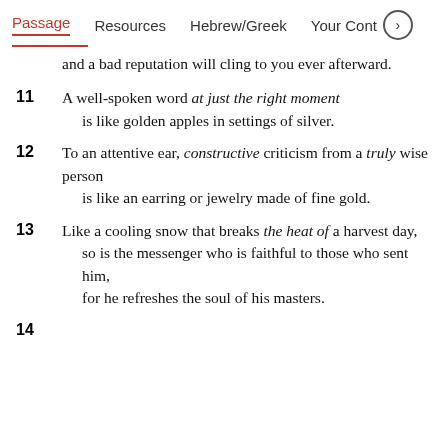Passage   Resources   Hebrew/Greek   Your Cont›
and a bad reputation will cling to you ever afterward.
11 A well-spoken word at just the right moment is like golden apples in settings of silver.
12 To an attentive ear, constructive criticism from a truly wise person is like an earring or jewelry made of fine gold.
13 Like a cooling snow that breaks the heat of a harvest day, so is the messenger who is faithful to those who sent him, for he refreshes the soul of his masters.
14 ...